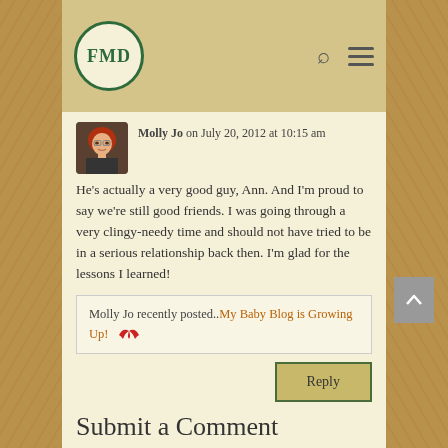FMD
Molly Jo on July 20, 2012 at 10:15 am
He's actually a very good guy, Ann. And I'm proud to say we're still good friends. I was going through a very clingy-needy time and should not have tried to be in a serious relationship back then. I'm glad for the lessons I learned!
Molly Jo recently posted..My Baby Blog is Growing Up!
Reply
Submit a Comment